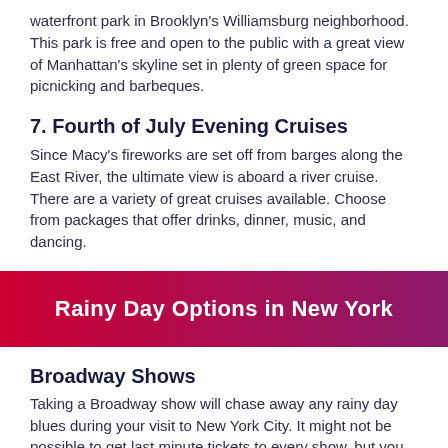waterfront park in Brooklyn's Williamsburg neighborhood. This park is free and open to the public with a great view of Manhattan's skyline set in plenty of green space for picnicking and barbeques.
7. Fourth of July Evening Cruises
Since Macy's fireworks are set off from barges along the East River, the ultimate view is aboard a river cruise. There are a variety of great cruises available. Choose from packages that offer drinks, dinner, music, and dancing.
[Figure (infographic): Banner with gradient background from red to purple reading 'Rainy Day Options in New York']
Broadway Shows
Taking a Broadway show will chase away any rainy day blues during your visit to New York City. It might not be possible to get last minute tickets to every show, but you can find something a couple of hours before the show starts by visiting the box office of